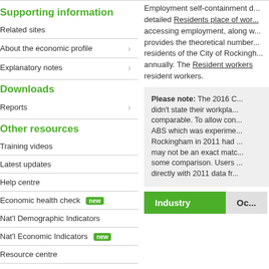Supporting information
Related sites
About the economic profile
Explanatory notes
Downloads
Reports
Other resources
Training videos
Latest updates
Help centre
Economic health check [new]
Nat'l Demographic Indicators
Nat'l Economic Indicators [new]
Resource centre
Blog
Understand your LGA's liveability
Employment self-containment d... detailed Residents place of wor... accessing employment, along w... provides the theoretical number... residents of the City of Rockingh... annually. The Resident workers... resident workers.
Please note: The 2016 C... didn't state their workpla... comparable. To allow con... ABS which was experime... Rockingham in 2011 had ... may not be an exact matc... some comparison. Users ... directly with 2011 data fr...
| Industry | Oc... |
| --- | --- |